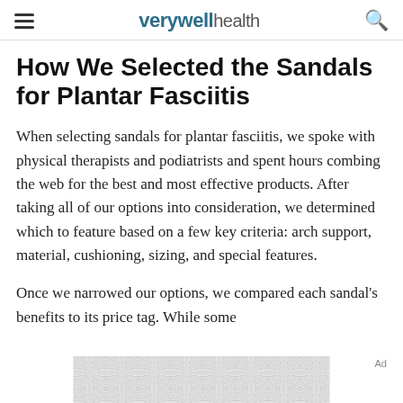verywell health
How We Selected the Sandals for Plantar Fasciitis
When selecting sandals for plantar fasciitis, we spoke with physical therapists and podiatrists and spent hours combing the web for the best and most effective products. After taking all of our options into consideration, we determined which to feature based on a few key criteria: arch support, material, cushioning, sizing, and special features.
Once we narrowed our options, we compared each sandal's benefits to its price tag. While some
[Figure (other): Ad placeholder with grey pattern background at bottom of page]